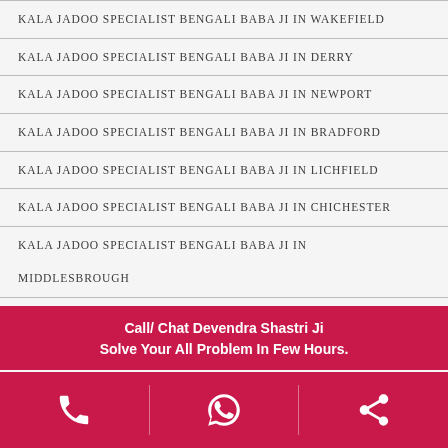KALA JADOO SPECIALIST BENGALI BABA JI IN WAKEFIELD
KALA JADOO SPECIALIST BENGALI BABA JI IN DERRY
KALA JADOO SPECIALIST BENGALI BABA JI IN NEWPORT
KALA JADOO SPECIALIST BENGALI BABA JI IN BRADFORD
KALA JADOO SPECIALIST BENGALI BABA JI IN LICHFIELD
KALA JADOO SPECIALIST BENGALI BABA JI IN CHICHESTER
KALA JADOO SPECIALIST BENGALI BABA JI IN MIDDLESBROUGH
KALA JADOO SPECIALIST BENGALI BABA JI IN SUNDERLAND
Call/ Chat Devendra Shastri Ji
Solve Your All Problem In Few Hours.